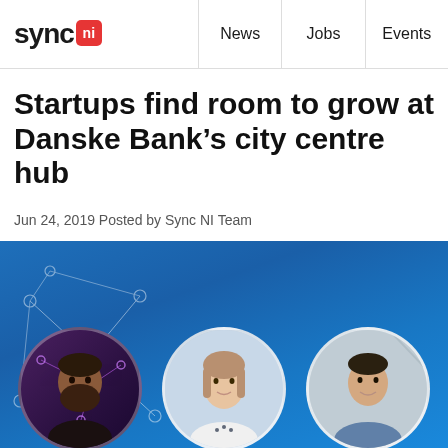sync NI | News | Jobs | Events
Startups find room to grow at Danske Bank's city centre hub
Jun 24, 2019 Posted by Sync NI Team
[Figure (photo): Three circular portrait photos of startup founders against a blue background with network graphic decoration. Left: Daniel McGlade, Oroson. Centre: Jess Dornan Lynas, Afterbook. Right: Gavin Shields, YOMO.]